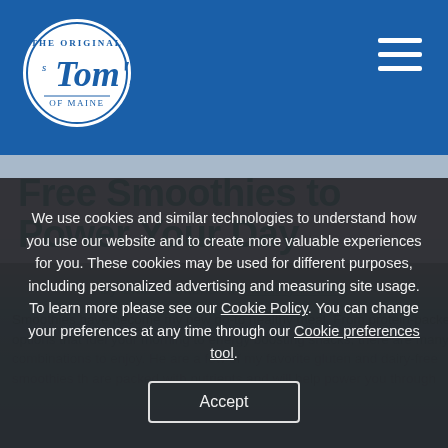[Figure (logo): Tom's of Maine circular logo with white text on blue background]
Free Smoothies to Power Your Day
By Sher Warkentin in Healthy Feeling
Smoothies have become my new go-to healthy meal. From protein-packed options that fuel your morning to energy boosting snacks, there are many combinations to enjoy. Here are a few of my favorite gluten and dairy-free smoothies that are packed with nutrients and will help power you through...
We use cookies and similar technologies to understand how you use our website and to create more valuable experiences for you. These cookies may be used for different purposes, including personalized advertising and measuring site usage. To learn more please see our Cookie Policy. You can change your preferences at any time through our Cookie preferences tool.
Accept